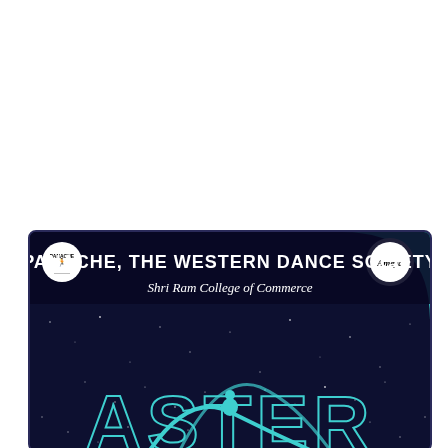[Figure (illustration): Event poster for Panache, The Western Dance Society at Shri Ram College of Commerce. Dark navy starfield background with teal accent corner. Top header shows organization name in bold white caps, subtitle in italic serif. Two circular logos on sides. Bottom shows large teal-outlined text 'ASTER' and decorative roller coaster / figure illustration in teal.]